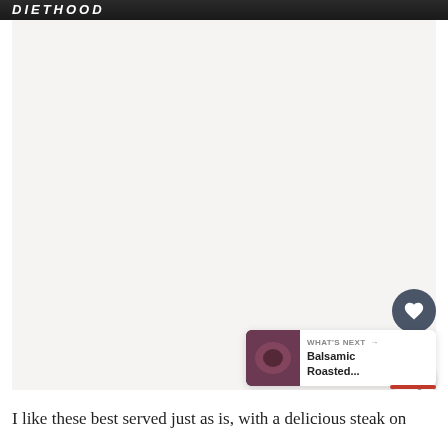DIETHOOD
[Figure (photo): Large food/recipe image area with light beige background (image content not visible), part of Diethood recipe blog page. Contains interactive UI elements: a heart/save button (dark circular), share button (white circular), a count label '9.1K', and a 'What's Next' card showing 'Balsamic Roasted...' with a food thumbnail.]
I like these best served just as is, with a delicious steak on